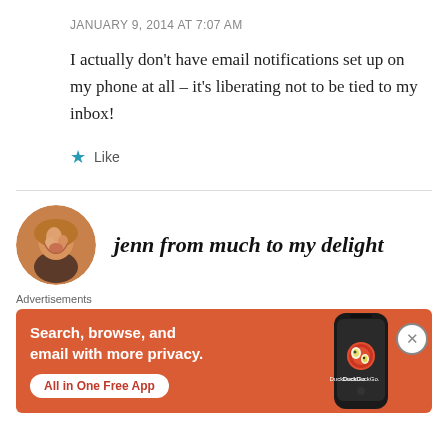JANUARY 9, 2014 AT 7:07 AM
I actually don't have email notifications set up on my phone at all – it's liberating not to be tied to my inbox!
★ Like
jenn from much to my delight
[Figure (photo): Advertisement banner for DuckDuckGo app with orange background. Text: 'Search, browse, and email with more privacy. All in One Free App'. Shows a phone with DuckDuckGo logo.]